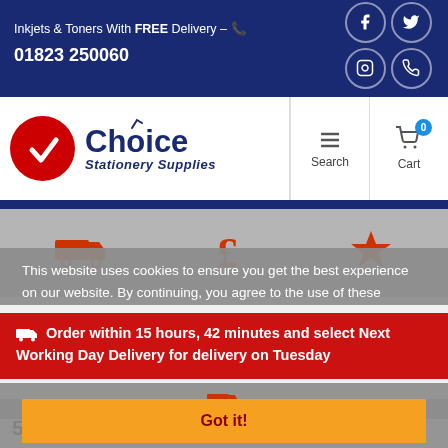Inkjets & Toners With FREE Delivery - 📞 01823 250060
[Figure (logo): Choice Stationery Supplies logo with red circle checkmark and blue text]
This website uses cookies to ensure you get the best experience on our website. By continuing, you agree to the use of these
Order within 15 hours, 42 minutes and select Next Working Day Delivery for delivery on Tuesday
Got it!
5m MSA 10Gb SFP Plus Direct Attach